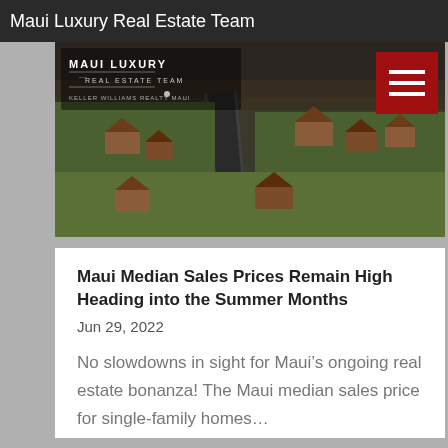Maui Luxury Real Estate Team
[Figure (photo): Aerial drone photograph of a Maui residential neighborhood showing homes, roads, and green landscape with dark volcanic terrain in the background. Overlaid with Maui Luxury Real Estate Team logo and Keller Williams Realty Maui text.]
Maui Median Sales Prices Remain High Heading into the Summer Months
Jun 29, 2022
No slowdowns in sight for Maui’s ongoing real estate bonanza! The Maui median sales price for single-family homes...